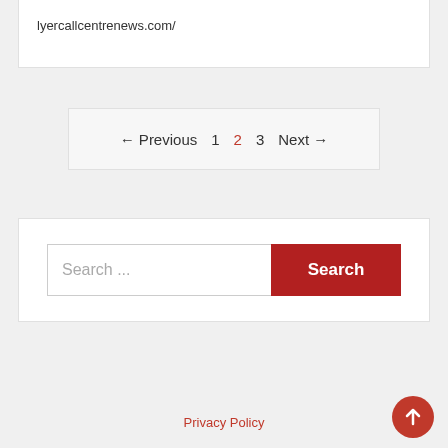lyercallcentrenews.com/
← Previous  1  2  3  Next →
[Figure (screenshot): Search bar with placeholder text 'Search ...' and a red 'Search' button]
Privacy Policy